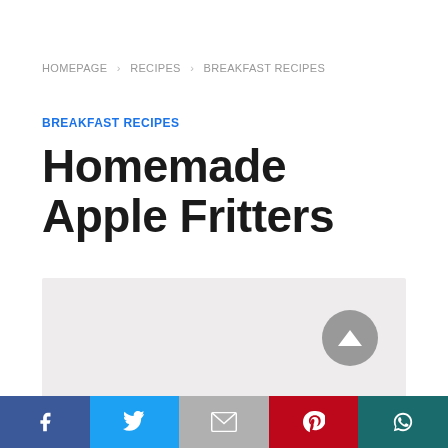HOMEPAGE > RECIPES > BREAKFAST RECIPES
BREAKFAST RECIPES
Homemade Apple Fritters
[Figure (photo): Large placeholder image area for food photo of apple fritters]
Facebook | Twitter | Gmail | Pinterest | WhatsApp